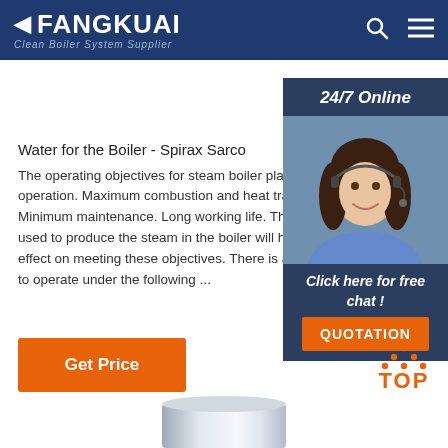FANGKUAI Clean Boiler System Supplier
Water for the Boiler - Spirax Sarco
The operating objectives for steam boiler plant operation. Maximum combustion and heat tran Minimum maintenance. Long working life. The used to produce the steam in the boiler will hav effect on meeting these objectives. There is a ne to operate under the following ...
[Figure (photo): Customer service representative woman with headset, 24/7 Online chat widget with QUOTATION button]
Get Price
[Figure (other): TOP navigation button with orange dots forming an upward triangle above the word TOP in orange]
[Figure (photo): Bottom portion of a cylindrical metallic/silver product]